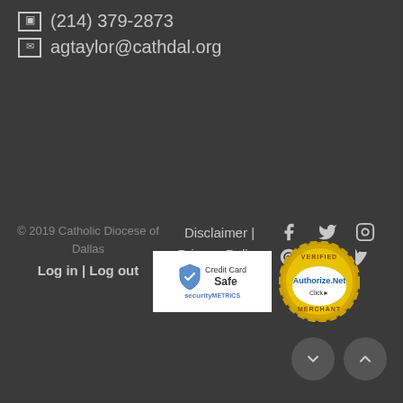(214) 379-2873
agtaylor@cathdal.org
© 2019 Catholic Diocese of Dallas
Log in | Log out
Disclaimer | Privacy Policy | Terms of Use
[Figure (other): Social media icons: Facebook, Twitter, Instagram, Pinterest, LinkedIn, Vimeo]
[Figure (other): SecurityMetrics Credit Card Safe badge]
[Figure (other): Authorize.Net Verified Merchant badge]
[Figure (other): Scroll down and scroll up navigation buttons]